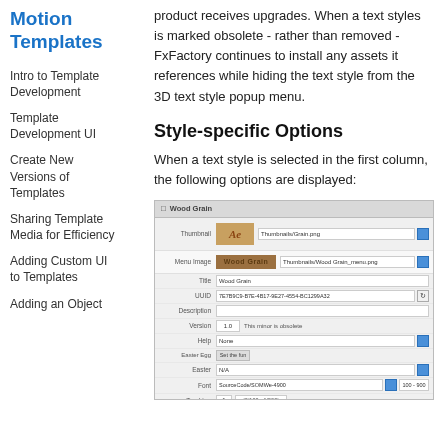Motion Templates
Intro to Template Development
Template Development UI
Create New Versions of Templates
Sharing Template Media for Efficiency
Adding Custom UI to Templates
Adding an Object
product receives upgrades. When a text styles is marked obsolete - rather than removed - FxFactory continues to install any assets it references while hiding the text style from the 3D text style popup menu.
Style-specific Options
When a text style is selected in the first column, the following options are displayed:
[Figure (screenshot): Screenshot of a 'Wood Grain' text style settings panel showing fields for Thumbnail, Menu Image, Title, UUID, Description, Version, Help, Easter Egg, Font, Tracking, 3D File Depth, and Media rows with file paths and options.]